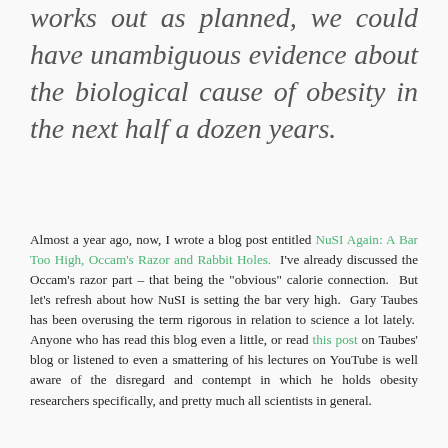works out as planned, we could have unambiguous evidence about the biological cause of obesity in the next half a dozen years.
Almost a year ago, now, I wrote a blog post entitled NuSI Again: A Bar Too High, Occam's Razor and Rabbit Holes. I've already discussed the Occam's razor part – that being the "obvious" calorie connection. But let's refresh about how NuSI is setting the bar very high. Gary Taubes has been overusing the term rigorous in relation to science a lot lately. Anyone who has read this blog even a little, or read this post on Taubes' blog or listened to even a smattering of his lectures on YouTube is well aware of the disregard and contempt in which he holds obesity researchers specifically, and pretty much all scientists in general.